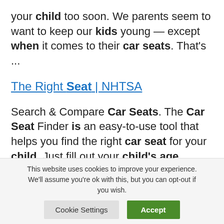your child too soon. We parents seem to want to keep our kids young — except when it comes to their car seats. That's ...
The Right Seat | NHTSA
Search & Compare Car Seats. The Car Seat Finder is an easy-to-use tool that helps you find the right car seat for your child. Just fill out your child's age ...
This website uses cookies to improve your experience. We'll assume you're ok with this, but you can opt-out if you wish.